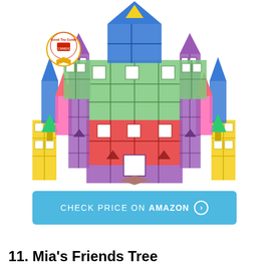[Figure (photo): A colorful magnetic tile castle toy made of translucent plastic pieces in blue, green, red, purple, yellow, and pink colors, forming a large castle structure with towers and a doorway. A 'Good Toy Guide' award badge is visible in the upper left.]
CHECK PRICE ON AMAZON ›
11. Mia's Friends Tree